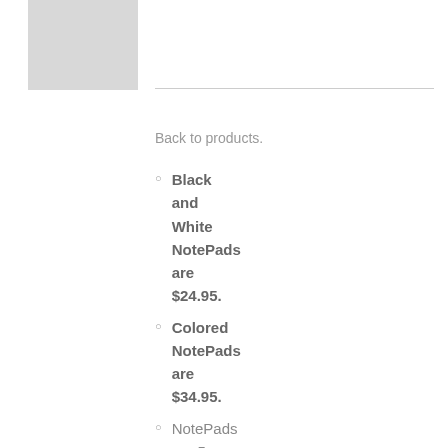[Figure (other): Gray placeholder image box in top-left area]
Back to products.
Black and White NotePads are $24.95.
Colored NotePads are $34.95.
NotePads are 5 inches x